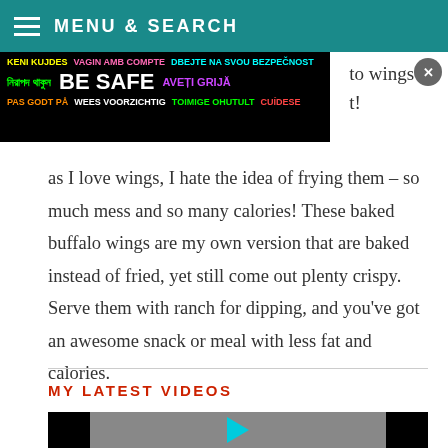MENU & SEARCH
[Figure (infographic): Safety advertisement banner with multilingual 'BE SAFE' text in various colors on black background. Languages include: KENI KUJDES, VAGIN AMB COMPTE, DBEJTE NA SVOU BEZPECNOST, Bengali script, BE SAFE, AVETI GRIJA, PAS GODT PA, WEES VOORZICHTIG, TOIMIGE OHUTULT, CUIDESE]
as I love wings, I hate the idea of frying them – so much mess and so many calories! These baked buffalo wings are my own version that are baked instead of fried, yet still come out plenty crispy. Serve them with ranch for dipping, and you've got an awesome snack or meal with less fat and calories.
MY LATEST VIDEOS
[Figure (screenshot): Video thumbnail showing a partial play button (cyan triangle) on a grey background with black bars on left and right sides]